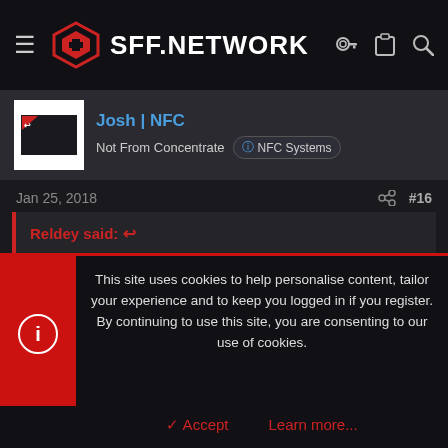SFF.NETWORK
Josh | NFC
Not From Concentrate  NFC Systems
Jan 25, 2018  #16
Reldey said: ↩

So I did another stress test, 5 minutes with furmark at 2560x1440 with no AA. At an ambient room temperature of 21 degrees, I saw a max temp of 73 degrees.
This site uses cookies to help personalise content, tailor your experience and to keep you logged in if you register.
By continuing to use this site, you are consenting to our use of cookies.

✓ Accept    Learn more...